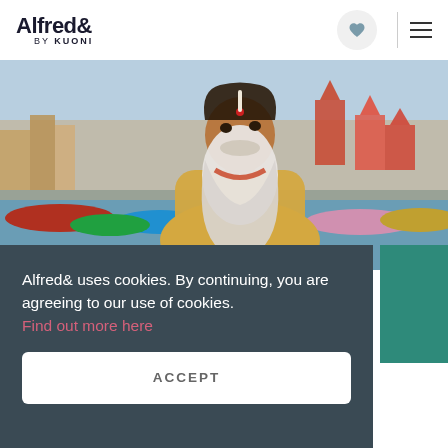Alfred& by KUONI
[Figure (photo): An elderly Indian sadhu (holy man) with a long white beard wearing a yellow robe, with colorful boats and the ghats of Varanasi visible in the background]
Alfred& uses cookies. By continuing, you are agreeing to our use of cookies.
Find out more here
ACCEPT